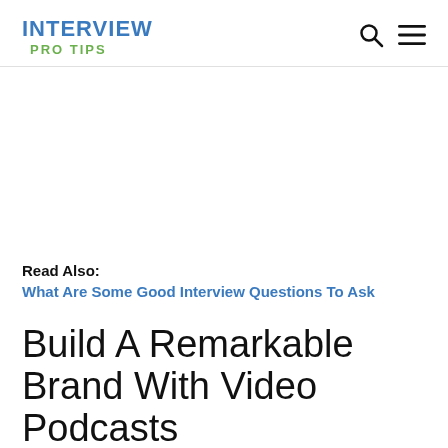INTERVIEW PRO TIPS
Read Also: What Are Some Good Interview Questions To Ask
Build A Remarkable Brand With Video Podcasts